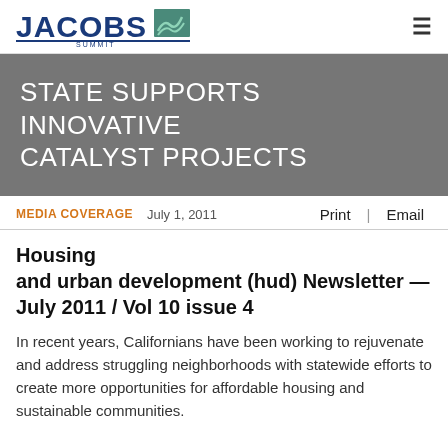JACOBS [logo]
STATE SUPPORTS INNOVATIVE CATALYST PROJECTS
MEDIA COVERAGE   July 1, 2011   Print | Email
Housing and urban development (hud) Newsletter — July 2011 / Vol 10 issue 4
In recent years, Californians have been working to rejuvenate and address struggling neighborhoods with statewide efforts to create more opportunities for affordable housing and sustainable communities.